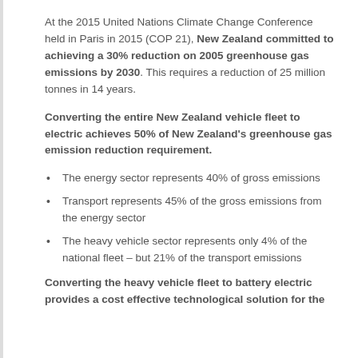At the 2015 United Nations Climate Change Conference held in Paris in 2015 (COP 21), New Zealand committed to achieving a 30% reduction on 2005 greenhouse gas emissions by 2030. This requires a reduction of 25 million tonnes in 14 years.
Converting the entire New Zealand vehicle fleet to electric achieves 50% of New Zealand's greenhouse gas emission reduction requirement.
The energy sector represents 40% of gross emissions
Transport represents 45% of the gross emissions from the energy sector
The heavy vehicle sector represents only 4% of the national fleet – but 21% of the transport emissions
Converting the heavy vehicle fleet to battery electric provides a cost effective technological solution for the